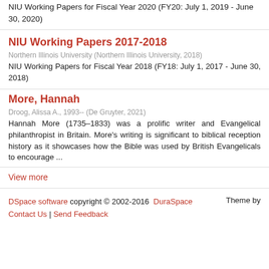NIU Working Papers for Fiscal Year 2020 (FY20: July 1, 2019 - June 30, 2020)
NIU Working Papers 2017-2018
Northern Illinois University (Northern Illinois University, 2018)
NIU Working Papers for Fiscal Year 2018 (FY18: July 1, 2017 - June 30, 2018)
More, Hannah
Droog, Alissa A., 1993-- (De Gruyter, 2021)
Hannah More (1735–1833) was a prolific writer and Evangelical philanthropist in Britain. More's writing is significant to biblical reception history as it showcases how the Bible was used by British Evangelicals to encourage ...
View more
DSpace software copyright © 2002-2016 DuraSpace Contact Us | Send Feedback Theme by